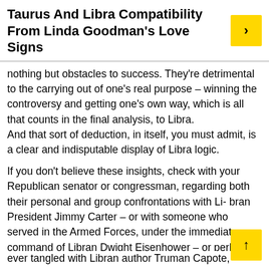Taurus And Libra Compatibility From Linda Goodman's Love Signs
nothing but obstacles to success. They're detrimental to the carrying out of one's real purpose – winning the controversy and getting one's own way, which is all that counts in the final analysis, to Libra.
And that sort of deduction, in itself, you must admit, is a clear and indisputable display of Libra logic.
If you don't believe these insights, check with your Republican senator or congressman, regarding both their personal and group confrontations with Li- bran President Jimmy Carter – or with someone who served in the Armed Forces, under the immediate command of Libran Dwight Eisenhower – or perhaps with some of the former lovers and husbands of Libran Brigitte Bardot. Maybe someone who tried to move Libran Eleanor Roosevelt from her determined, but flower-strewn, path – or anyone who's ever tangled with Libran author Truman Capote, verbally